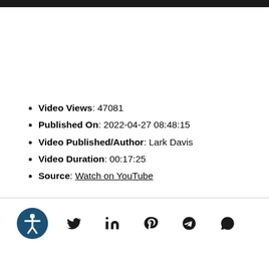Video Views: 47081
Published On: 2022-04-27 08:48:15
Video Published/Author: Lark Davis
Video Duration: 00:17:25
Source: Watch on YouTube
[Figure (infographic): Footer with accessibility icon and social sharing icons: Twitter, LinkedIn, Pinterest, Telegram, WhatsApp]